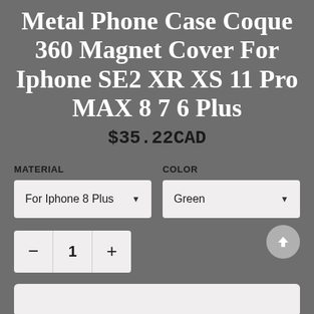Metal Phone Case Coque 360 Magnet Cover For Iphone SE2 XR XS 11 Pro MAX 8 7 6 Plus
$35.22CAD
MATERIAL
COLOR
For Iphone 8 Plus
Green
1